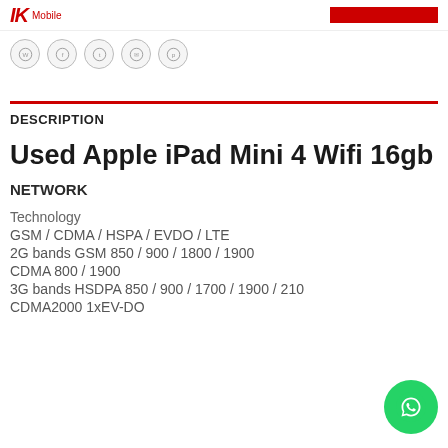IK Mobile
[Figure (logo): Social media sharing icons: WhatsApp, Facebook, Twitter, Email, Pinterest]
DESCRIPTION
Used Apple iPad Mini 4 Wifi 16gb
NETWORK
Technology
GSM / CDMA / HSPA / EVDO / LTE
2G bands GSM 850 / 900 / 1800 / 1900
CDMA 800 / 1900
3G bands HSDPA 850 / 900 / 1700 / 1900 / 210...
CDMA2000 1xEV-DO